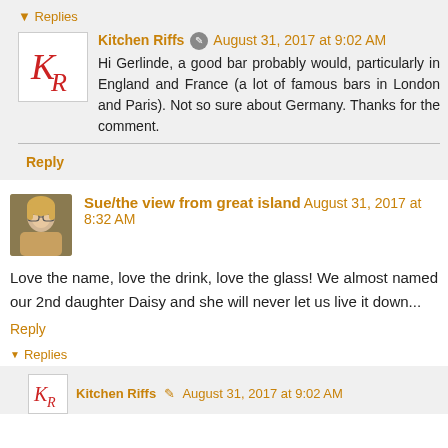▼ Replies
Kitchen Riffs  August 31, 2017 at 9:02 AM
Hi Gerlinde, a good bar probably would, particularly in England and France (a lot of famous bars in London and Paris). Not so sure about Germany. Thanks for the comment.
Reply
Sue/the view from great island  August 31, 2017 at 8:32 AM
Love the name, love the drink, love the glass! We almost named our 2nd daughter Daisy and she will never let us live it down...
Reply
▼ Replies
Kitchen Riffs  August 31, 2017 at 9:02 AM